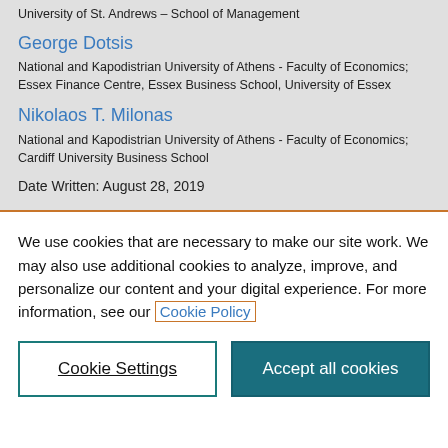University of St. Andrews – School of Management
George Dotsis
National and Kapodistrian University of Athens - Faculty of Economics; Essex Finance Centre, Essex Business School, University of Essex
Nikolaos T. Milonas
National and Kapodistrian University of Athens - Faculty of Economics; Cardiff University Business School
Date Written: August 28, 2019
We use cookies that are necessary to make our site work. We may also use additional cookies to analyze, improve, and personalize our content and your digital experience. For more information, see our Cookie Policy
Cookie Settings
Accept all cookies